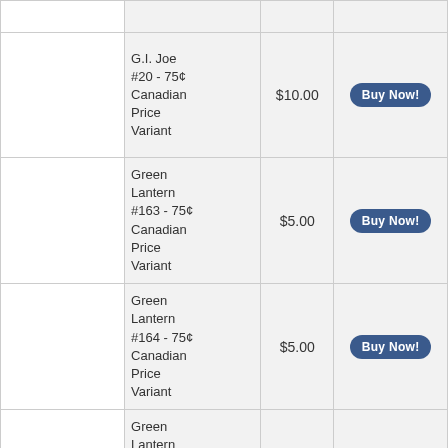| (image) | Name | Price | Action |
| --- | --- | --- | --- |
|  | G.I. Joe #20 - 75¢ Canadian Price Variant | $10.00 | Buy Now! |
|  | Green Lantern #163 - 75¢ Canadian Price Variant | $5.00 | Buy Now! |
|  | Green Lantern #164 - 75¢ Canadian Price Variant | $5.00 | Buy Now! |
|  | Green Lantern #165 - 75¢ Canadian Price Variant | $5.00 | Buy Now! |